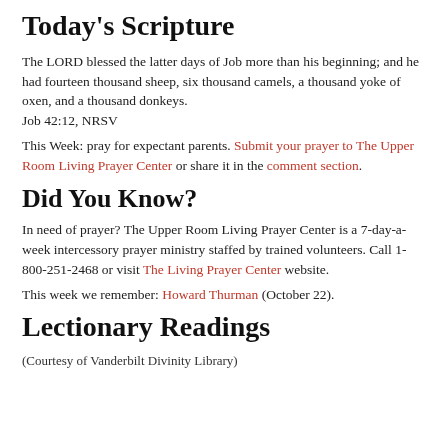Today's Scripture
The LORD blessed the latter days of Job more than his beginning; and he had fourteen thousand sheep, six thousand camels, a thousand yoke of oxen, and a thousand donkeys.
Job 42:12, NRSV
This Week: pray for expectant parents. Submit your prayer to The Upper Room Living Prayer Center or share it in the comment section.
Did You Know?
In need of prayer? The Upper Room Living Prayer Center is a 7-day-a-week intercessory prayer ministry staffed by trained volunteers. Call 1-800-251-2468 or visit The Living Prayer Center website.
This week we remember: Howard Thurman (October 22).
Lectionary Readings
(Courtesy of Vanderbilt Divinity Library)